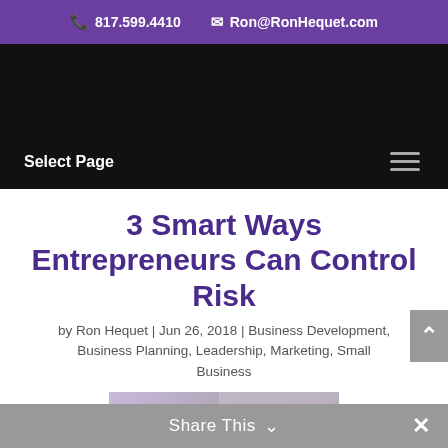817.599.4410  Ron@RonHequet.com
Select Page
3 Smart Ways Entrepreneurs Can Control Risk
by Ron Hequet | Jun 26, 2018 | Business Development, Business Planning, Leadership, Marketing, Small Business
[Figure (photo): Thumbnail image showing people at a table with text overlay reading '3 Smart Ways Entrepreneurs Can Control Risk']
Share This